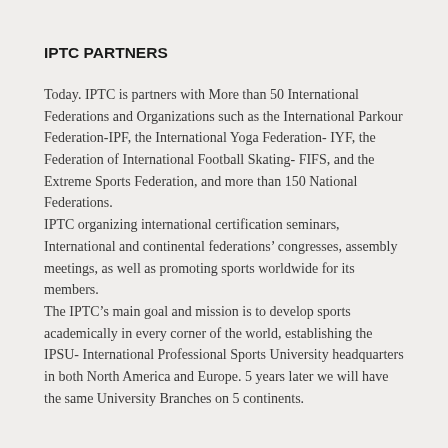IPTC PARTNERS
Today. IPTC is partners with More than 50 International Federations and Organizations such as the International Parkour Federation-IPF, the International Yoga Federation- IYF, the Federation of International Football Skating- FIFS, and the Extreme Sports Federation, and more than 150 National Federations.
IPTC organizing international certification seminars, International and continental federations' congresses, assembly meetings, as well as promoting sports worldwide for its members.
The IPTC's main goal and mission is to develop sports academically in every corner of the world, establishing the IPSU- International Professional Sports University headquarters in both North America and Europe. 5 years later we will have the same University Branches on 5 continents.